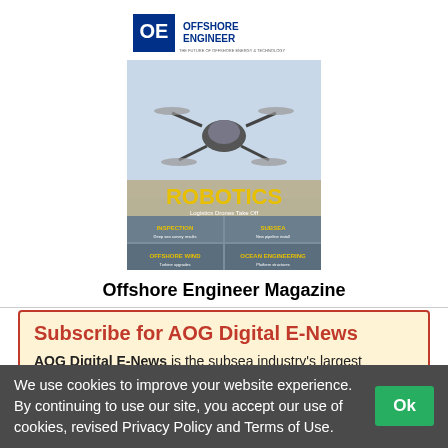[Figure (screenshot): Cover of Offshore Engineer Magazine featuring a drone/UAV over water with ROBOTICS headline and various feature sections]
Offshore Engineer Magazine
Subscribe for AOG Digital E-News
AOG Digital E-News is the subsea industry's largest circulation and most authoritative ENews Service, delivered to your Email three times per week
We use cookies to improve your website experience. By continuing to use our site, you accept our use of cookies, revised Privacy Policy and Terms of Use.